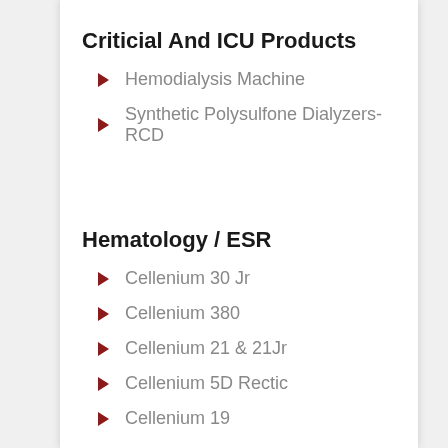Criticial And ICU Products
Hemodialysis Machine
Synthetic Polysulfone Dialyzers-RCD
Hematology / ESR
Cellenium 30 Jr
Cellenium 380
Cellenium 21 & 21Jr
Cellenium 5D Rectic
Cellenium 19
Contrast Media